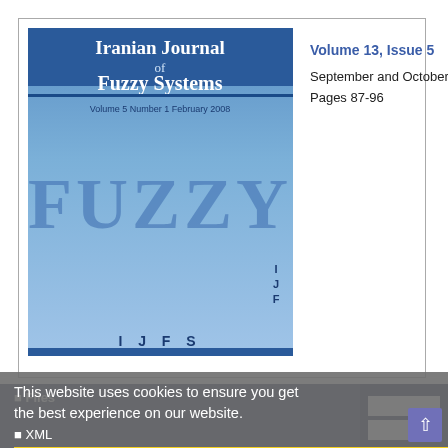[Figure (illustration): Cover of Iranian Journal of Fuzzy Systems showing blue gradient cover with journal title and large FUZZY text, with IJFS initials at bottom right]
Volume 13, Issue 5
September and October 2016
Pages 87-96
Files
This website uses cookies to ensure you get the best experience on our website.
XML
PDF 361.58 K
Got it!